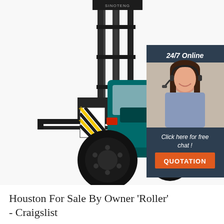[Figure (photo): A large industrial forklift (Sinoteng brand) with black mast and teal body, shown on a white background. In the upper right corner there is a dark blue chat widget panel showing '24/7 Online' text, a female customer service agent wearing a headset and smiling, text 'Click here for free chat!', and an orange 'QUOTATION' button.]
Houston For Sale By Owner 'Roller' - Craigslist